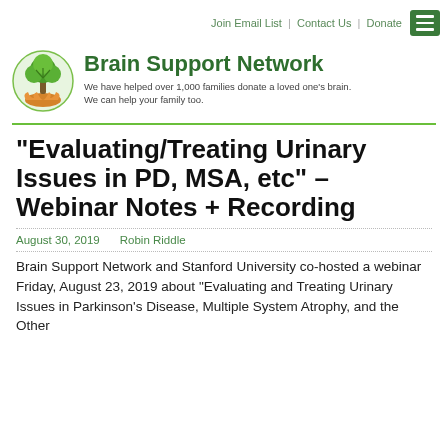Join Email List | Contact Us | Donate
[Figure (logo): Brain Support Network logo: tree with hands beneath it, circular green design]
Brain Support Network
We have helped over 1,000 families donate a loved one's brain. We can help your family too.
“Evaluating/Treating Urinary Issues in PD, MSA, etc” – Webinar Notes + Recording
August 30, 2019   Robin Riddle
Brain Support Network and Stanford University co-hosted a webinar Friday, August 23, 2019 about “Evaluating and Treating Urinary Issues in Parkinson’s Disease, Multiple System Atrophy, and the Other